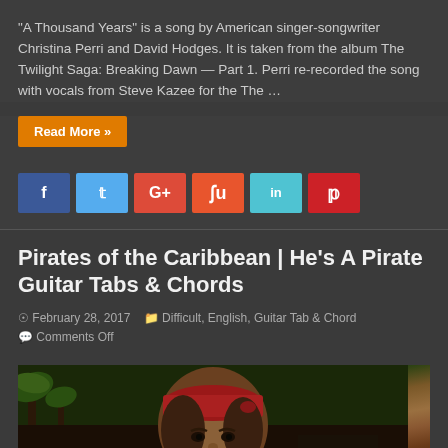“A Thousand Years” is a song by American singer-songwriter Christina Perri and David Hodges. It is taken from the album The Twilight Saga: Breaking Dawn — Part 1. Perri re-recorded the song with vocals from Steve Kazee for the The …
Read More »
[Figure (infographic): Social sharing buttons: Facebook (blue), Twitter (light blue), Google+ (red), StumbleUpon (orange-red), LinkedIn (light blue), Pinterest (red)]
Pirates of the Caribbean | He’s A Pirate Guitar Tabs & Chords
February 28, 2017   Difficult, English, Guitar Tab & Chord   Comments Off
[Figure (photo): Photo of Jack Sparrow (Pirates of the Caribbean) character wearing red bandana, with palm trees and ship in background. reCAPTCHA badge visible in bottom right corner with Privacy and Terms links.]